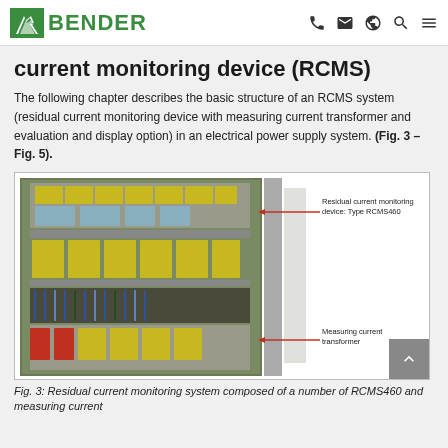BENDER [logo with navigation icons: phone, email, globe, search, menu]
current monitoring device (RCMS)
The following chapter describes the basic structure of an RCMS system (residual current monitoring device with measuring current transformer and evaluation and display option) in an electrical power supply system. (Fig. 3 – Fig. 5).
[Figure (photo): Photo of an electrical cabinet showing RCMS460 residual current monitoring devices mounted on DIN rails with yellow modules, cables, and measuring current transformers. Labels point to 'Residual current monitoring device: Type RCMS460' (top right) and 'Measuring current transformer' (bottom right), connected by red horizontal arrows.]
Fig. 3: Residual current monitoring system composed of a number of RCMS460 and measuring current transformers in an installation.